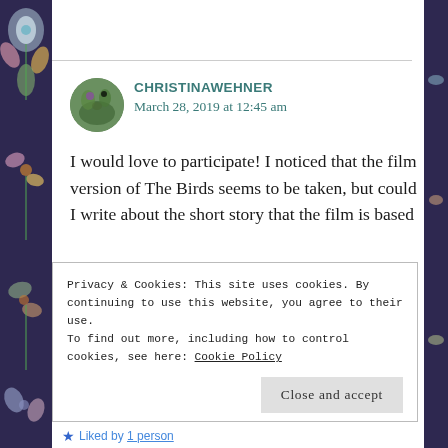[Figure (illustration): Decorative dark purple floral border on left side of page with colorful flower and leaf motifs]
[Figure (photo): Circular avatar photo of user christinawehner showing green plants/flowers]
CHRISTINAWEHNER
March 28, 2019 at 12:45 am
I would love to participate! I noticed that the film version of The Birds seems to be taken, but could I write about the short story that the film is based
Privacy & Cookies: This site uses cookies. By continuing to use this website, you agree to their use.
To find out more, including how to control cookies, see here: Cookie Policy
Close and accept
Liked by 1 person